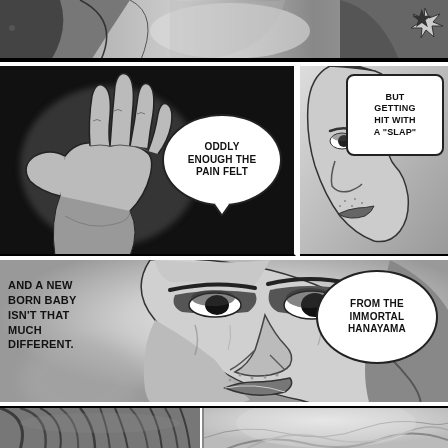[Figure (illustration): Manga comic page. Top panel: close-up of a figure being struck, with a star impact effect. Middle-left panel: dark background with a large hand/fingers reaching out. Middle-right panel: close-up of a man's face in profile. Large center panel: extreme close-up of a scarred man's face with intense expression. Bottom panel: split view of two characters.]
ODDLY ENOUGH THE PAIN FELT
BUT GETTING HIT WITH A "SLAP"
AND A NEW BORN BABY ISN'T THAT MUCH DIFFERENT.
FROM THE IMMORTAL HANAYAMA